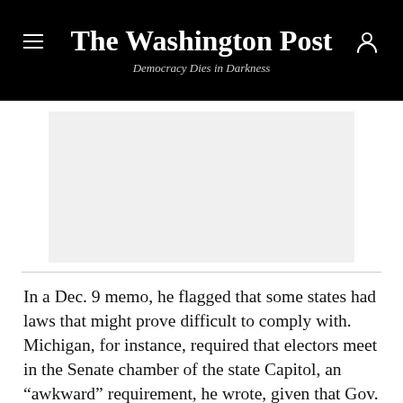The Washington Post
Democracy Dies in Darkness
[Figure (photo): Blank light gray image placeholder]
In a Dec. 9 memo, he flagged that some states had laws that might prove difficult to comply with. Michigan, for instance, required that electors meet in the Senate chamber of the state Capitol, an “awkward” requirement, he wrote, given that Gov. Gretchen Whitmer (D) would be presiding over the meeting of